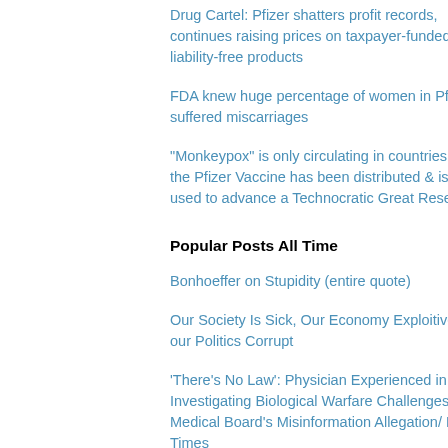Drug Cartel: Pfizer shatters profit records, continues raising prices on taxpayer-funded, liability-free products
FDA knew huge percentage of women in Pfizer trial suffered miscarriages
"Monkeypox" is only circulating in countries where the Pfizer Vaccine has been distributed & is being used to advance a Technocratic Great Reset
Popular Posts All Time
Bonhoeffer on Stupidity (entire quote)
Our Society Is Sick, Our Economy Exploitive and our Politics Corrupt
'There's No Law': Physician Experienced in Investigating Biological Warfare Challenges Medical Board's Misinformation Allegation/ Epoch Times
World Economic Forum's 'Young Global Leaders' Is A Massive Network Of Royals, Politicians, Big Tech, Billionaires And Other 'Elites'
Leaked Document Reveals 'Shocking' Terms of
Tax pla... There's... defeats...
But the... strategie... state ca...
In my ca... investm... respecti...
Last, the... woke co...
They ca... example...
And the... the intel...
But that...
These c... ideologi... control s...